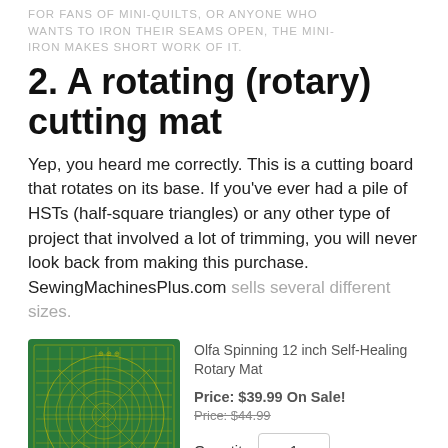FOR FANS OF MINI-QUILTS, OR ANYONE WHO WANTS TO IRON THEIR SEAMS OPEN, THE MINI-IRON MAKES SHORT WORK OF IT.
2. A rotating (rotary) cutting mat
Yep, you heard me correctly. This is a cutting board that rotates on its base. If you've ever had a pile of HSTs (half-square triangles) or any other type of project that involved a lot of trimming, you will never look back from making this purchase. SewingMachinesPlus.com sells several different sizes.
[Figure (photo): Green Olfa Spinning 12 inch Self-Healing Rotary Mat with yellow grid lines and circular cutting guides]
Olfa Spinning 12 inch Self-Healing Rotary Mat
Price: $39.99 On Sale!
Price: $44.99
Quantity 1
+ Add to Cart